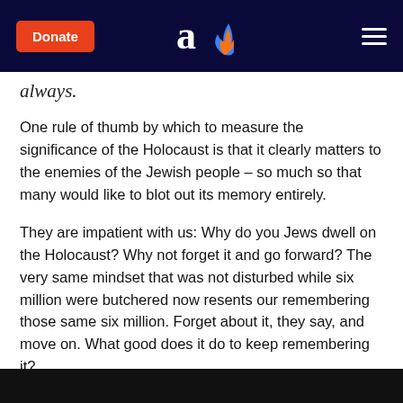Donate | Aish logo | Menu
always.
One rule of thumb by which to measure the significance of the Holocaust is that it clearly matters to the enemies of the Jewish people – so much so that many would like to blot out its memory entirely.
They are impatient with us: Why do you Jews dwell on the Holocaust? Why not forget it and go forward? The very same mindset that was not disturbed while six million were butchered now resents our remembering those same six million. Forget about it, they say, and move on. What good does it do to keep remembering it?